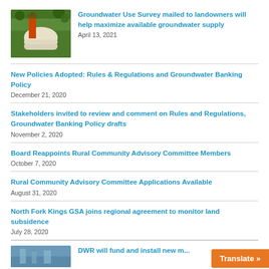[Figure (photo): Photo of a water well with an orange pipe and white concrete surroundings, trees in background]
Groundwater Use Survey mailed to landowners will help maximize available groundwater supply
April 13, 2021
New Policies Adopted: Rules & Regulations and Groundwater Banking Policy
December 21, 2020
Stakeholders invited to review and comment on Rules and Regulations, Groundwater Banking Policy drafts
November 2, 2020
Board Reappoints Rural Community Advisory Committee Members
October 7, 2020
Rural Community Advisory Committee Applications Available
August 31, 2020
North Fork Kings GSA joins regional agreement to monitor land subsidence
July 28, 2020
[Figure (photo): Partial photo at bottom of page]
DWR will fund and install new m...